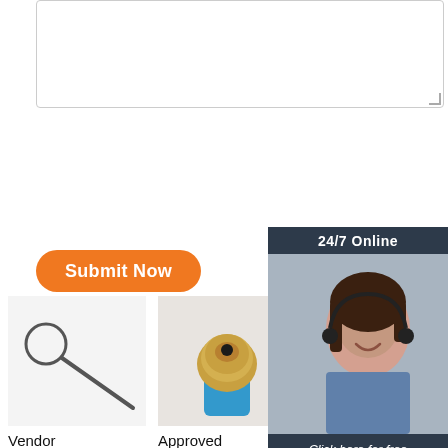[Figure (screenshot): Textarea input box with resize handle in bottom-right corner]
[Figure (screenshot): Orange 'Submit Now' button with rounded corners]
[Figure (screenshot): 24/7 Online live chat widget showing a customer service representative with headset, dark blue background, 'Click here for free chat!' text, and orange QUOTATION button]
[Figure (photo): Product image: a metal pin/rod tool with circular loop on white background]
Vendor Resources | Hammersmith Management, Inc.
[Figure (photo): Product image: a gold/bronze drill bit on blue base against white background]
Approved Vendor Office Education | Hammersmith
[Figure (photo): Partial product image, gray/blue tones, partially obscured by chat widget]
Vendor Relationships - E | Hammersmith TOP